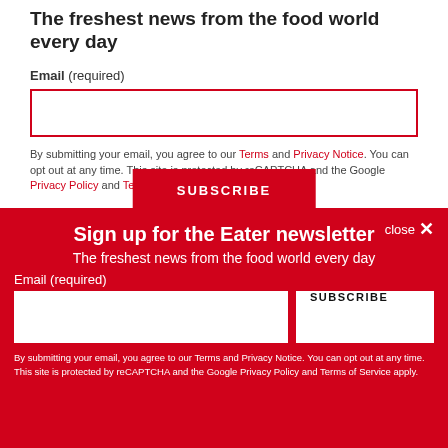The freshest news from the food world every day
Email (required)
By submitting your email, you agree to our Terms and Privacy Notice. You can opt out at any time. This site is protected by reCAPTCHA and the Google Privacy Policy and Terms of Service apply.
close ×
Sign up for the Eater newsletter
The freshest news from the food world every day
Email (required)
By submitting your email, you agree to our Terms and Privacy Notice. You can opt out at any time. This site is protected by reCAPTCHA and the Google Privacy Policy and Terms of Service apply.